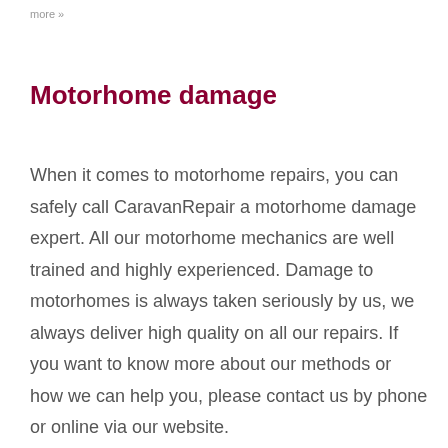more »
Motorhome damage
When it comes to motorhome repairs, you can safely call CaravanRepair a motorhome damage expert. All our motorhome mechanics are well trained and highly experienced. Damage to motorhomes is always taken seriously by us, we always deliver high quality on all our repairs. If you want to know more about our methods or how we can help you, please contact us by phone or online via our website.